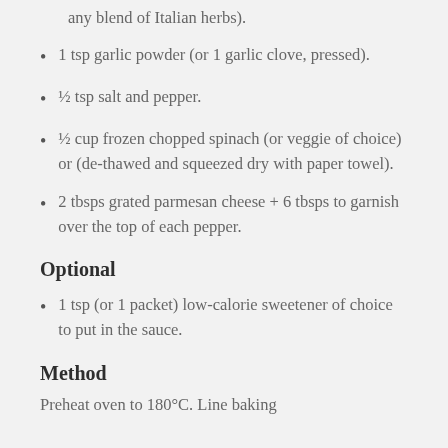any blend of Italian herbs).
1 tsp garlic powder (or 1 garlic clove, pressed).
½ tsp salt and pepper.
½ cup frozen chopped spinach (or veggie of choice) or (de-thawed and squeezed dry with paper towel).
2 tbsps grated parmesan cheese + 6 tbsps to garnish over the top of each pepper.
Optional
1 tsp (or 1 packet) low-calorie sweetener of choice to put in the sauce.
Method
Preheat oven to 180°C. Line baking